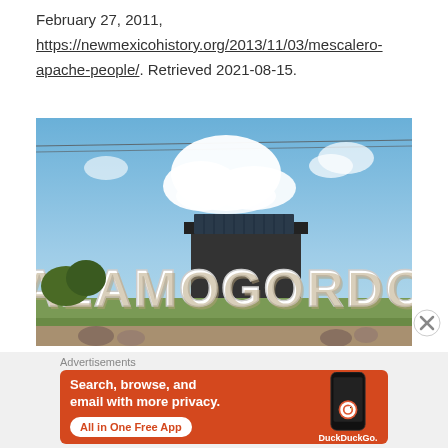February 27, 2011, https://newmexicohistory.org/2013/11/03/mescalero-apache-people/. Retrieved 2021-08-15.
[Figure (photo): Outdoor sign reading 'ALAMOGORDO' in large white letters against a blue sky with white clouds.]
Advertisements
[Figure (screenshot): DuckDuckGo advertisement banner: orange background with text 'Search, browse, and email with more privacy. All in One Free App' and DuckDuckGo logo on a phone mockup.]